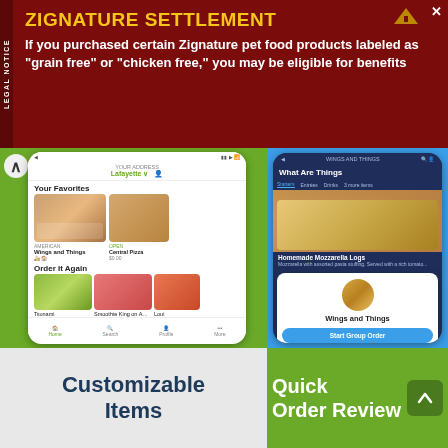[Figure (screenshot): Legal notice banner ad for Zignature Settlement with dark red background and yellow title text]
ZIGNATURE SETTLEMENT
If you purchased certain Zignature pet food products labeled as "grain free" or "chicken free," you may be eligible for benefits
[Figure (screenshot): Left mobile app screenshot showing DoorDash-style food delivery app with Your Favorites and Order It Again sections on green background]
[Figure (screenshot): Right mobile app screenshot showing Wings and Things restaurant with Start Group Order modal dialog on blue background]
Customizable Items
Quick Order Review